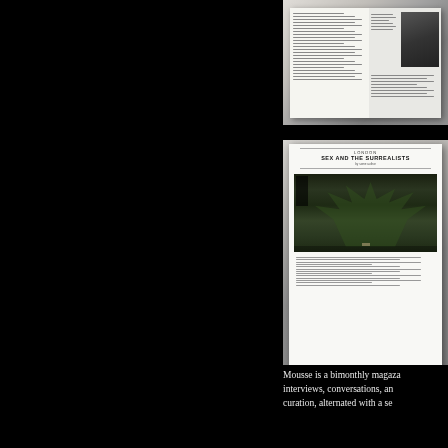[Figure (photo): Photograph of an open magazine spread showing text columns and a black-and-white photo on the right page]
[Figure (photo): Photograph of an open magazine spread with header reading 'LONDON / SEX AND THE SURREALISTS' and a large color photograph of a plant/tree in a dark room]
Mousse is a bimonthly magaza... interviews, conversations, an... curation, alternated with a se...